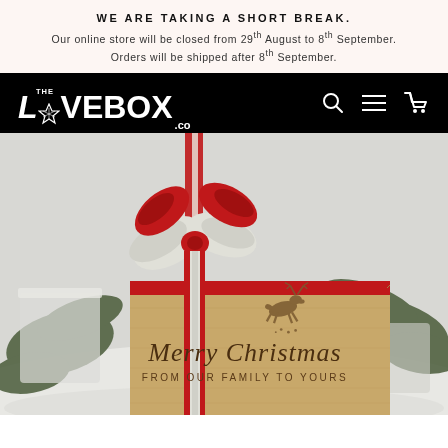WE ARE TAKING A SHORT BREAK. Our online store will be closed from 29th August to 8th September. Orders will be shipped after 8th September.
[Figure (logo): The LoveBox Co logo in white on black background with search, menu, and cart icons]
[Figure (photo): A wooden gift box with red and white ribbon bow, engraved with a reindeer silhouette and 'Merry Christmas FROM OUR FAMILY TO YOURS', set against a snowy Christmas background with pine branches]